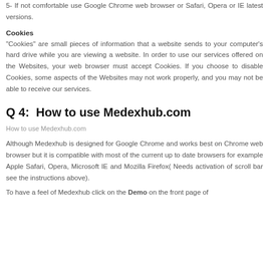5- If not comfortable use Google Chrome web browser or Safari, Opera or IE latest versions.
Cookies
"Cookies" are small pieces of information that a website sends to your computer's hard drive while you are viewing a website. In order to use our services offered on the Websites, your web browser must accept Cookies. If you choose to disable Cookies, some aspects of the Websites may not work properly, and you may not be able to receive our services.
Q 4:  How to use Medexhub.com
How to use Medexhub.com
Although Medexhub is designed for Google Chrome and works best on Chrome web browser but it is compatible with most of the current up to date browsers for example Apple Safari, Opera, Microsoft IE and Mozilla Firefox( Needs activation of scroll bar see the instructions above).
To have a feel of Medexhub click on the Demo on the front page of